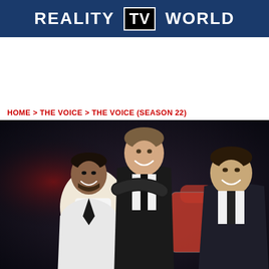REALITY TV WORLD
HOME > THE VOICE > THE VOICE (SEASON 22)
[Figure (photo): Photo of three men smiling and posing together on The Voice set with iconic red chairs in background. Left man wears white suit jacket, center man in black suit leans over, right man in dark suit smiles at camera.]